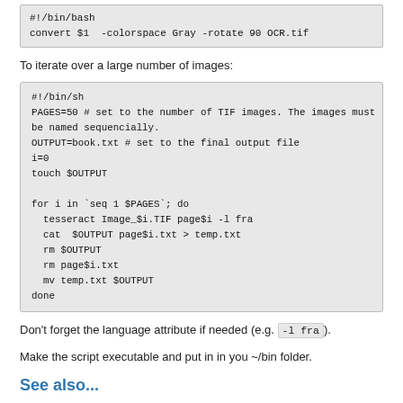#!/bin/bash
convert $1  -colorspace Gray -rotate 90 OCR.tif
To iterate over a large number of images:
#!/bin/sh
PAGES=50 # set to the number of TIF images. The images must be named sequencially.
OUTPUT=book.txt # set to the final output file
i=0
touch $OUTPUT

for i in `seq 1 $PAGES`; do
  tesseract Image_$i.TIF page$i -l fra
  cat  $OUTPUT page$i.txt > temp.txt
  rm $OUTPUT
  rm page$i.txt
  mv temp.txt $OUTPUT
done
Don't forget the language attribute if needed (e.g. -l fra).
Make the script executable and put in in you ~/bin folder.
See also...
Scanners (hardware):